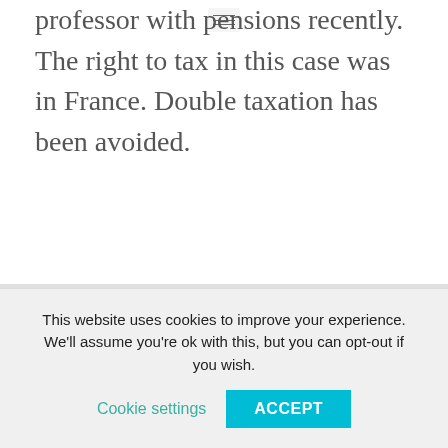professor with pensions recently. The right to tax in this case was in France. Double taxation has been avoided.
We also examine the risks of "unwanted" company establishments.
This website uses cookies to improve your experience. We'll assume you're ok with this, but you can opt-out if you wish.
Cookie settings   ACCEPT